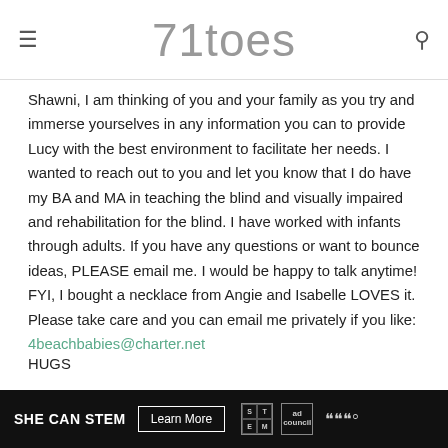71toes
Shawni, I am thinking of you and your family as you try and immerse yourselves in any information you can to provide Lucy with the best environment to facilitate her needs. I wanted to reach out to you and let you know that I do have my BA and MA in teaching the blind and visually impaired and rehabilitation for the blind. I have worked with infants through adults. If you have any questions or want to bounce ideas, PLEASE email me. I would be happy to talk anytime! FYI, I bought a necklace from Angie and Isabelle LOVES it. Please take care and you can email me privately if you like:
4beachbabies@charter.net
HUGS
[Figure (infographic): Dark advertisement banner reading SHE CAN STEM with a Learn More button and logos for STEM, Ad Council, and a wave symbol]